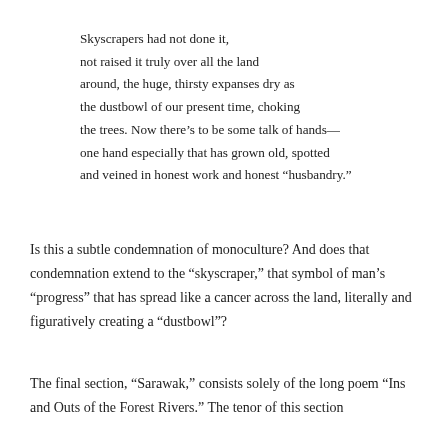Skyscrapers had not done it,
not raised it truly over all the land
around, the huge, thirsty expanses dry as
the dustbowl of our present time, choking
the trees. Now there’s to be some talk of hands—
one hand especially that has grown old, spotted
and veined in honest work and honest “husbandry.”
Is this a subtle condemnation of monoculture? And does that condemnation extend to the “skyscraper,” that symbol of man’s “progress” that has spread like a cancer across the land, literally and figuratively creating a “dustbowl”?
The final section, “Sarawak,” consists solely of the long poem “Ins and Outs of the Forest Rivers.” The tenor of this section